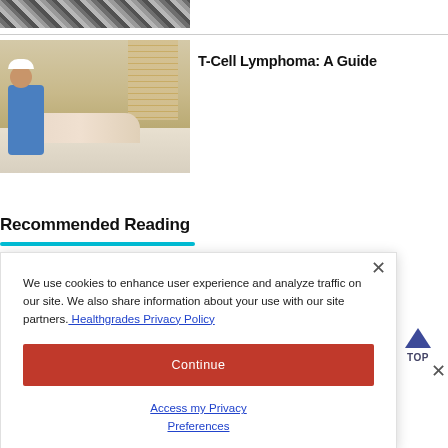[Figure (photo): Partial top crop of a decorative or medical-themed striped image]
[Figure (photo): Nurse in blue scrubs attending to an elderly patient lying in a hospital bed, beside a window with blinds]
T-Cell Lymphoma: A Guide
Recommended Reading
We use cookies to enhance user experience and analyze traffic on our site. We also share information about your use with our site partners. Healthgrades Privacy Policy
Continue
Access my Privacy Preferences
Depression